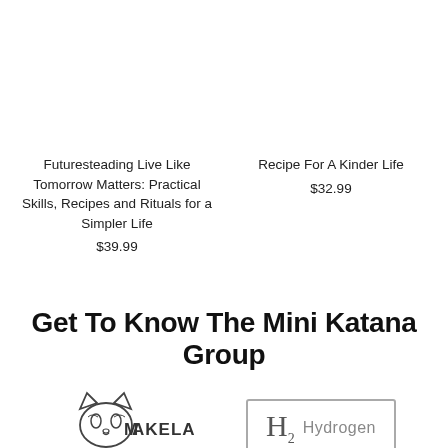Futuresteading Live Like Tomorrow Matters: Practical Skills, Recipes and Rituals for a Simpler Life
$39.99
Recipe For A Kinder Life
$32.99
Get To Know The Mini Katana Group
[Figure (logo): Mini Katana raccoon/cat logo with text MAKELA]
[Figure (logo): Hydrogen H2 periodic table element style logo in a rectangle border]